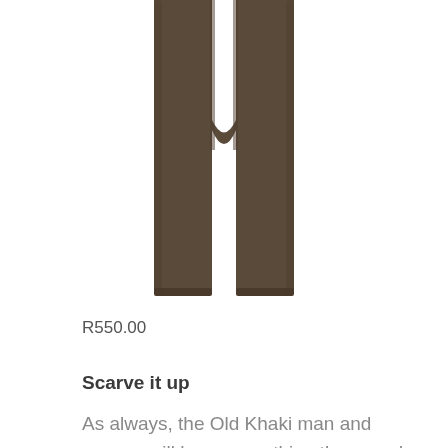[Figure (photo): Product photo of dark brown/khaki slim-fit trousers (pants) shown from waist down, on white background]
R550.00
Scarve it up
As always, the Old Khaki man and woman will have everything they need to round off